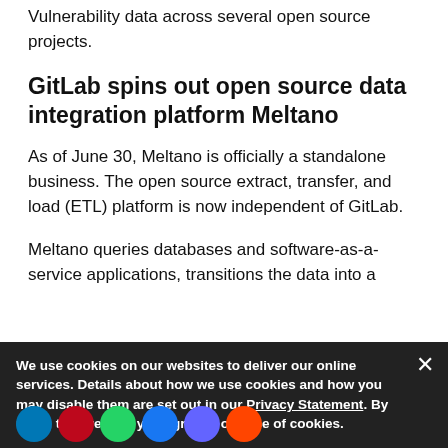Vulnerability data across several open source projects.
GitLab spins out open source data integration platform Meltano
As of June 30, Meltano is officially a standalone business. The open source extract, transfer, and load (ETL) platform is now independent of GitLab.
Meltano queries databases and software-as-a-service applications, transitions the data into a
warehouse or storage system, and restructures it. GitLab debuted Meltano in 2018 and it became... transitions
We use cookies on our websites to deliver our online services. Details about how we use cookies and how you may disable them are set out in our Privacy Statement. By using this website you agree to our use of cookies.
Several projects...